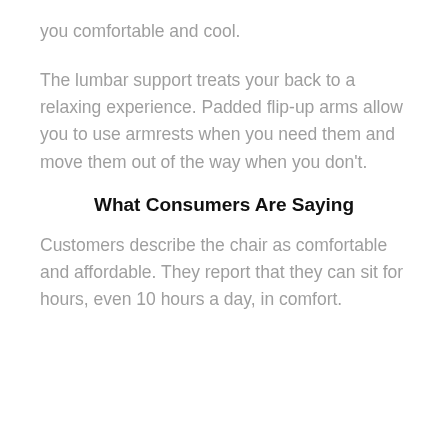you comfortable and cool.
The lumbar support treats your back to a relaxing experience. Padded flip-up arms allow you to use armrests when you need them and move them out of the way when you don't.
What Consumers Are Saying
Customers describe the chair as comfortable and affordable. They report that they can sit for hours, even 10 hours a day, in comfort.